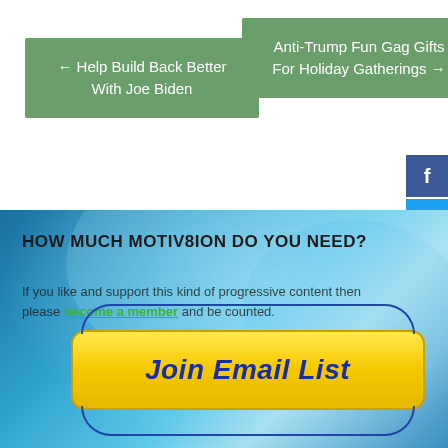← Help Build Back Better With Joe Biden
Anti-Trump Fun Gag Gifts For Holiday Gatherings →
[Figure (illustration): Facebook social share button (dark blue with f icon)]
[Figure (illustration): Twitter social share button (cyan with bird icon)]
[Figure (illustration): Pinterest social share button (red with p icon)]
[Figure (photo): Ocean wave background image — large blue wave curling from right]
HOW MUCH MOTIV8ION DO YOU NEED?
If you like and support this kind of progressive content then please become a member and be counted.
[Figure (illustration): Yellow Join Email List button with dark blue oval border decoration and bold italic blue text reading 'Join Email List']